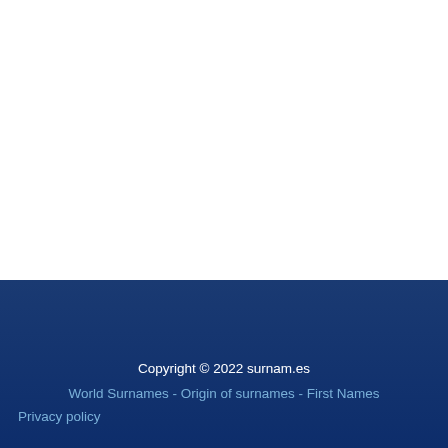Copyright © 2022 surnam.es
World Surnames - Origin of surnames - First Names
Privacy policy